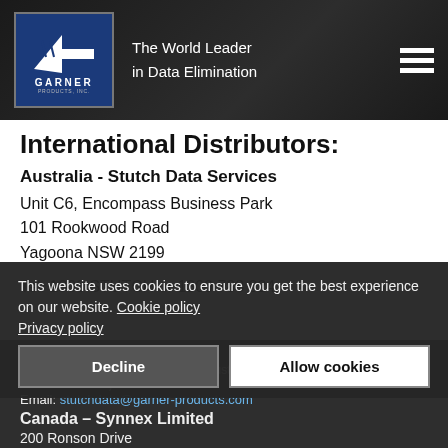[Figure (logo): Garner Products Inc. logo — white lightning-bolt arrow on blue background with company name. Tagline: The World Leader in Data Elimination]
International Distributors:
Australia - Stutch Data Services
Unit C6, Encompass Business Park
101 Rookwood Road
Yagoona NSW 2199
Tel: 1300 STUTCH or 1300 788 824
Tel: +61 2 9790-2716
Hours: Monday - Friday, 9 to 5:30, Australian Eastern Standard Time (AEST = UTC+10 hours)
Email: stutchdata@garner-products.com
Canada - Synnex Limited
200 Ronson Drive
This website uses cookies to ensure you get the best experience on our website. Cookie policy
Privacy policy
Decline
Allow cookies